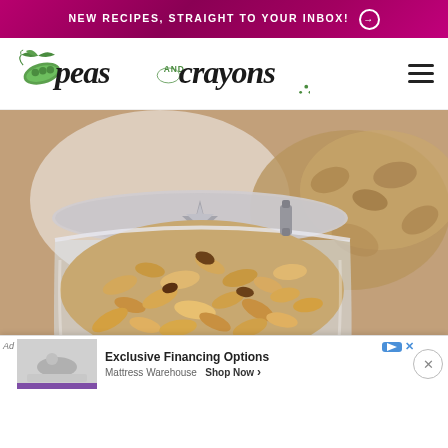NEW RECIPES, STRAIGHT TO YOUR INBOX! →
[Figure (logo): Peas and Crayons blog logo with illustrated pea pod and script/handwritten text]
[Figure (photo): Close-up photo of granola in a glass jar with a flip top lid, blurred background of more granola]
Ad Save Up To $800 — Exclusive Financing Options — Mattress Warehouse — Shop Now